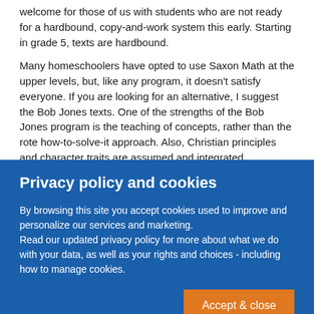welcome for those of us with students who are not ready for a hardbound, copy-and-work system this early. Starting in grade 5, texts are hardbound.
Many homeschoolers have opted to use Saxon Math at the upper levels, but, like any program, it doesn't satisfy everyone. If you are looking for an alternative, I suggest the Bob Jones texts. One of the strengths of the Bob Jones program is the teaching of concepts, rather than the rote how-to-solve-it approach. Also, Christian principles and character traits are assumed and integrated throughout the
Privacy policy and cookies
By browsing this site you accept cookies used to improve and personalize our services and marketing.
Read our updated privacy policy for more about what we do with your data, as well as your rights and choices - including how to manage cookies.
Accept & close